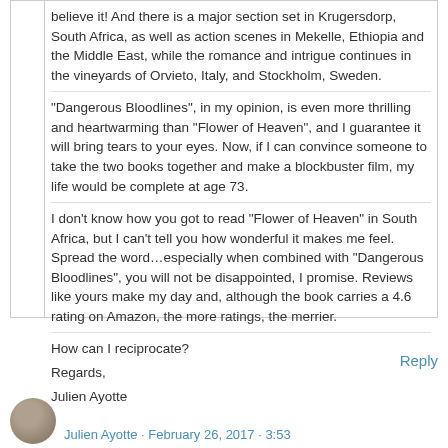believe it! And there is a major section set in Krugersdorp, South Africa, as well as action scenes in Mekelle, Ethiopia and the Middle East, while the romance and intrigue continues in the vineyards of Orvieto, Italy, and Stockholm, Sweden.
“Dangerous Bloodlines”, in my opinion, is even more thrilling and heartwarming than “Flower of Heaven”, and I guarantee it will bring tears to your eyes. Now, if I can convince someone to take the two books together and make a blockbuster film, my life would be complete at age 73.
I don’t know how you got to read “Flower of Heaven” in South Africa, but I can’t tell you how wonderful it makes me feel. Spread the word…especially when combined with “Dangerous Bloodlines”, you will not be disappointed, I promise. Reviews like yours make my day and, although the book carries a 4.6 rating on Amazon, the more ratings, the merrier.
How can I reciprocate?
Regards,
Julien Ayotte
Reply
Julien Ayotte · February 26, 2017 · 3:53